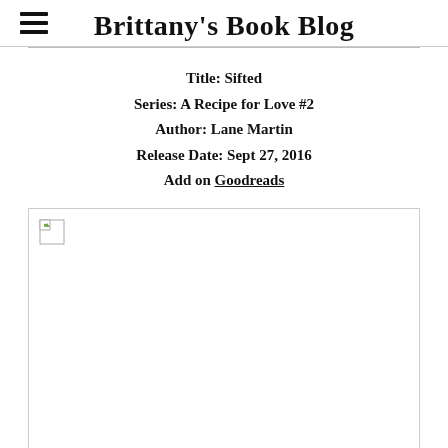Brittany's Book Blog
Title: Sifted
Series: A Recipe for Love #2
Author: Lane Martin
Release Date: Sept 27, 2016
Add on Goodreads
[Figure (photo): Broken image placeholder for book cover of Sifted by Lane Martin]